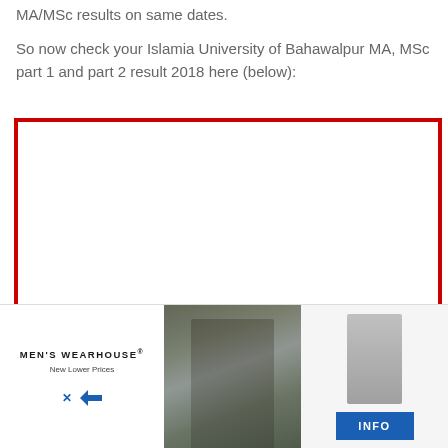MA/MSc results on same dates.
So now check your Islamia University of Bahawalpur MA, MSc part 1 and part 2 result 2018 here (below):
[Figure (other): Red-bordered box containing embedded content (result lookup form/iframe), with a chevron/dropdown button at the bottom left]
[Figure (other): Men's Wearhouse advertisement banner showing a couple in formal wear and a boy in a suit, with INFO button]